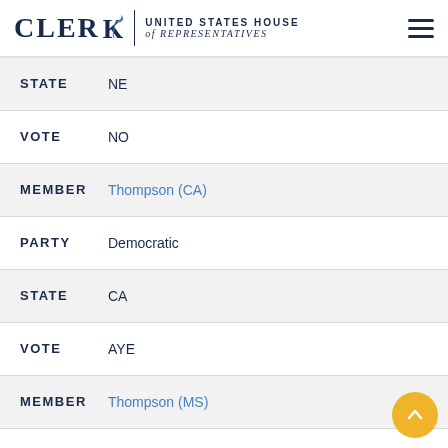CLERK | UNITED STATES HOUSE of REPRESENTATIVES
STATE  NE
VOTE  NO
MEMBER  Thompson (CA)
PARTY  Democratic
STATE  CA
VOTE  AYE
MEMBER  Thompson (MS)